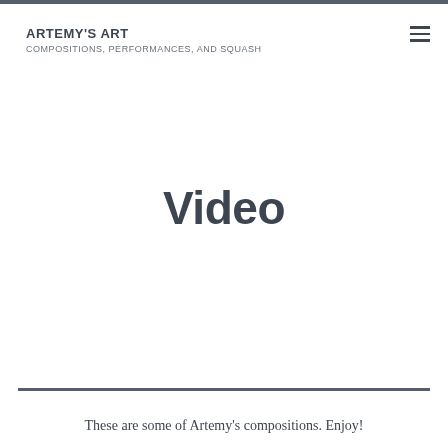ARTEMY'S ART
COMPOSITIONS, PERFORMANCES, AND SQUASH
Video
These are some of Artemy's compositions. Enjoy!